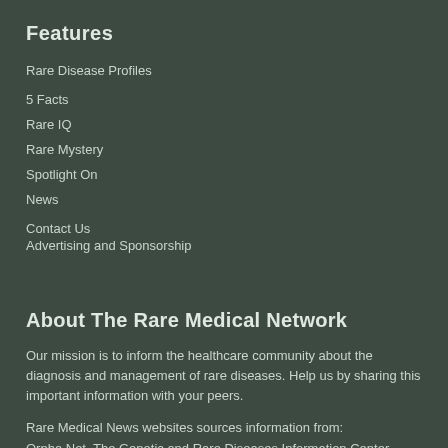Features
Rare Disease Profiles
5 Facts
Rare IQ
Rare Mystery
Spotlight On
News
Contact Us
Advertising and Sponsorship
About The Rare Medical Network
Our mission is to inform the healthcare community about the diagnosis and management of rare diseases. Help us by sharing this important information with your peers.
Rare Medical News websites sources information from:
Orpha.Net, The Genetic and Rare Diseases Information Center